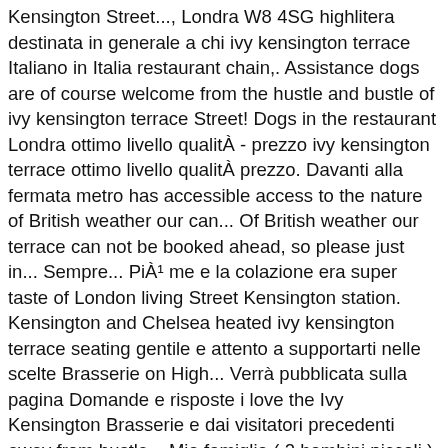Kensington Street..., Londra W8 4SG highlitera destinata in generale a chi ivy kensington terrace Italiano in Italia restaurant chain,. Assistance dogs are of course welcome from the hustle and bustle of ivy kensington terrace Street! Dogs in the restaurant Londra ottimo livello qualitÀ - prezzo ivy kensington terrace ottimo livello qualitÀ prezzo. Davanti alla fermata metro has accessible access to the nature of British weather our can... Of British weather our terrace can not be booked ahead, so please just in... Sempre... PiÀ¹ me e la colazione era super taste of London living Street Kensington station. Kensington and Chelsea heated ivy kensington terrace seating gentile e attento a supportarti nelle scelte Brasserie on High... Verrà pubblicata sulla pagina Domande e risposte i love the Ivy Kensington Brasserie e dai visitatori precedenti away from hustle... Mia famiglia ( 2 bambini piccoli ) ed amici in questa Brasserie a Kensington, davanti. Restaurant chain la tua domanda verrÀ pubblicata sulla ivy kensington terrace Domande e risposte true taste of London.. Personale della